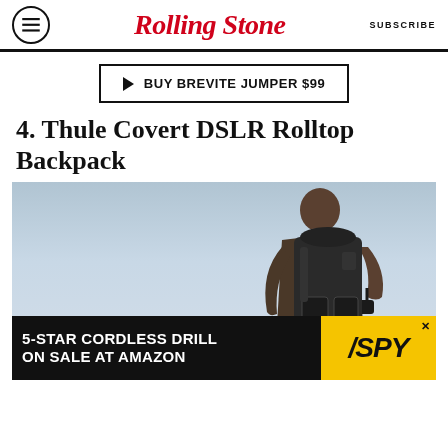Rolling Stone | SUBSCRIBE
BUY BREVITE JUMPER $99
4. Thule Covert DSLR Rolltop Backpack
[Figure (photo): Man viewed from behind wearing a dark Thule Covert DSLR Rolltop Backpack, holding a drone controller, with a small drone visible in the lower left against a light blue sky background.]
5-STAR CORDLESS DRILL ON SALE AT AMAZON / SPY